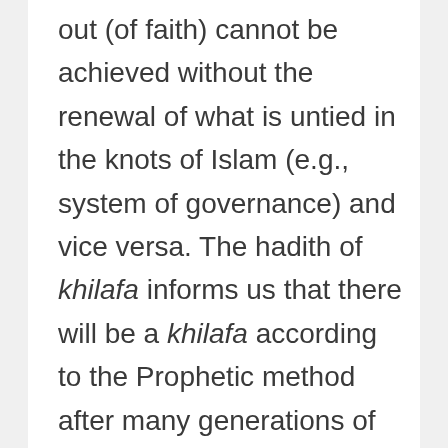out (of faith) cannot be achieved without the renewal of what is untied in the knots of Islam (e.g., system of governance) and vice versa. The hadith of khilafa informs us that there will be a khilafa according to the Prophetic method after many generations of hereditary